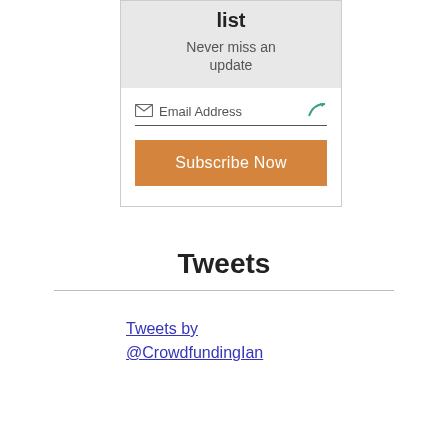list
Never miss an update
Email Address
Subscribe Now
Tweets
Tweets by @CrowdfundingIan